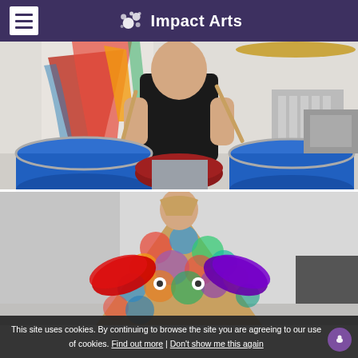Impact Arts
[Figure (photo): Young person playing drums with drumsticks, blue drum kit in foreground, colorful abstract painting on wall in background]
[Figure (photo): Person wearing a large colorful costume resembling a fish or creature, with red and purple metallic wing-like elements and multicolored scale-like fabric pieces]
This site uses cookies. By continuing to browse the site you are agreeing to our use of cookies. Find out more | Don't show me this again